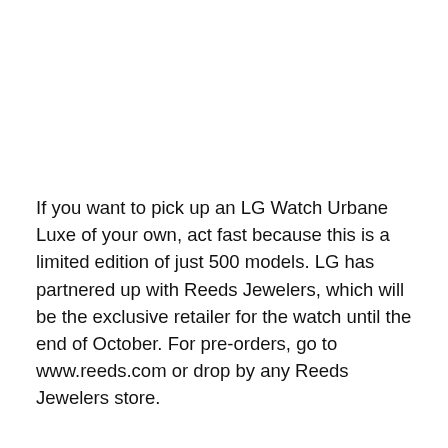If you want to pick up an LG Watch Urbane Luxe of your own, act fast because this is a limited edition of just 500 models. LG has partnered up with Reeds Jewelers, which will be the exclusive retailer for the watch until the end of October. For pre-orders, go to www.reeds.com or drop by any Reeds Jewelers store.
The fancy smartwatch will be making its official debut at the IFA consumer electronics trade fair that kicks off later this week in
We use cookies on our website to give you the most relevant experience by remembering your preferences and repeat visits. By clicking “Accept”, you consent to the use of ALL the cookies.